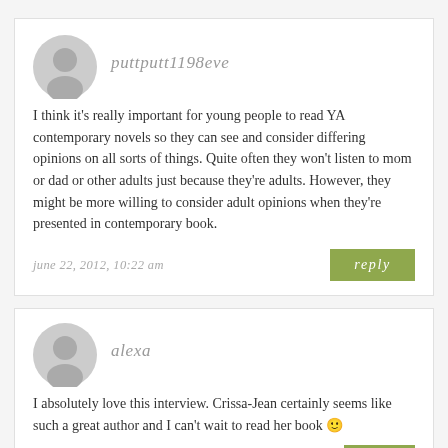puttputt1198eve
I think it's really important for young people to read YA contemporary novels so they can see and consider differing opinions on all sorts of things. Quite often they won't listen to mom or dad or other adults just because they're adults. However, they might be more willing to consider adult opinions when they're presented in contemporary book.
june 22, 2012, 10:22 am
reply
alexa
I absolutely love this interview. Crissa-Jean certainly seems like such a great author and I can't wait to read her book 🙂
june 22, 2012, 7:32
reply